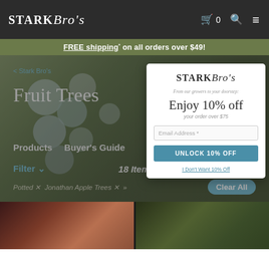Stark Bro's — Cart 0 [search] [menu]
FREE shipping* on all orders over $49!
< Stark Bro's
Fruit Trees
Products    Buyer's Guide
Filter ∨   18 Items   Sort ∨
Potted ✕   Jonathan Apple Trees ✕   »   Clear All
[Figure (screenshot): Email popup modal from Stark Bro's website. Contains Stark Bro's logo, tagline 'From our growers to your doorstep:', large text 'Enjoy 10% off', subtext 'your order over $75', email address input field, 'UNLOCK 10% OFF' button, and 'I Don't Want 10% Off' dismiss link.]
[Figure (photo): Two product thumbnail images at bottom. Left: close-up of rhubarb or red stems. Right: close-up of green plant or rhubarb leaves.]